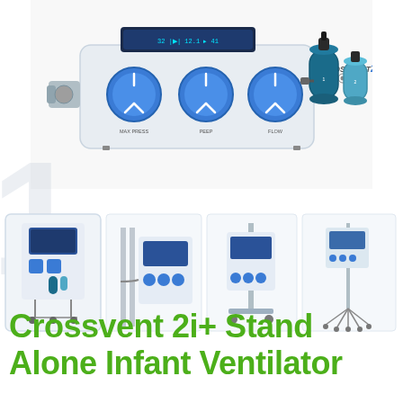[Figure (photo): Crossvent 2i+ ventilator device shown from front, white casing with three large blue rotary knobs labeled MAX PRESS, PEEP, FLOW, a digital display on top, and two cylindrical blue metal canisters on the right side.]
[Figure (photo): Strip of four thumbnail photos showing: (1) Crossvent 2i+ stand-alone infant ventilator on a wheeled cart with a display screen and blue components, (2) close-up view of the ventilator mounted on a hospital bed rail, (3) full-unit view of ventilator on wheeled stand, (4) ventilator on mobile stand from a distance.]
Crossvent 2i+ Stand Alone Infant Ventilator